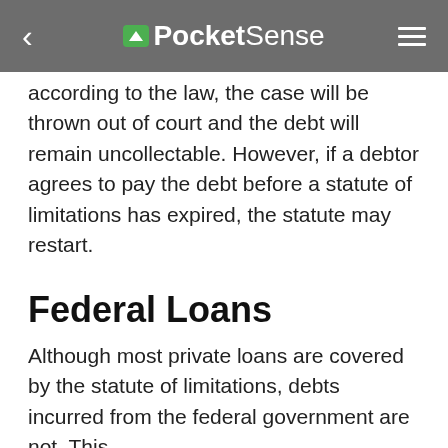PocketSense
according to the law, the case will be thrown out of court and the debt will remain uncollectable. However, if a debtor agrees to pay the debt before a statute of limitations has expired, the statute may restart.
Federal Loans
Although most private loans are covered by the statute of limitations, debts incurred from the federal government are not. This